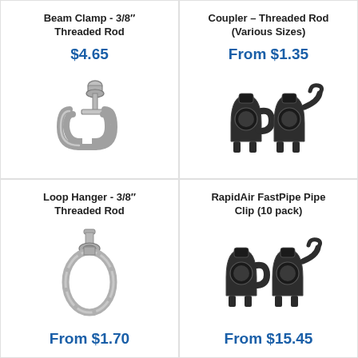Beam Clamp - 3/8″ Threaded Rod
$4.65
[Figure (photo): Beam clamp metal hardware with threaded rod fitting]
Coupler – Threaded Rod (Various Sizes)
From $1.35
[Figure (photo): Two dark plastic pipe couplers/clips side by side]
Loop Hanger - 3/8″ Threaded Rod
From $1.70
RapidAir FastPipe Pipe Clip (10 pack)
From $15.45